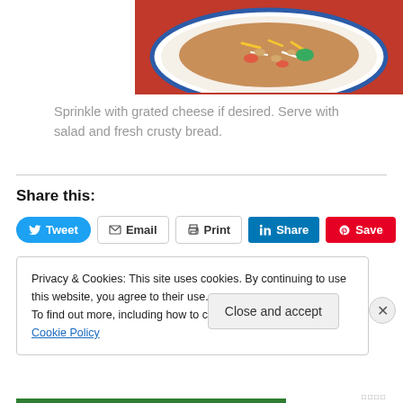[Figure (photo): A bowl of food — beans, cheese, vegetables on a decorative plate with blue rim, on a red background]
Sprinkle with grated cheese if desired. Serve with salad and fresh crusty bread.
Share this:
Tweet   Email   Print   Share   Save
Privacy & Cookies: This site uses cookies. By continuing to use this website, you agree to their use.
To find out more, including how to control cookies, see here: Cookie Policy
Close and accept